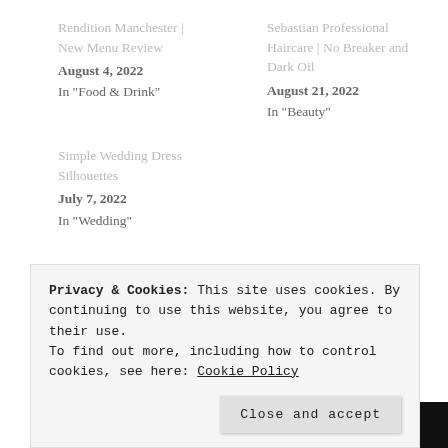Rendition Manchester | New Menu Review
August 4, 2022
In "Food & Drink"
Sebastian Professional Haircare | No Breaker and Dark Oil
August 21, 2022
In "Beauty"
Simple Wedding Dress Silhouettes
July 7, 2022
In "Wedding"
RELATED POSTS
Privacy & Cookies: This site uses cookies. By continuing to use this website, you agree to their use.
To find out more, including how to control cookies, see here: Cookie Policy
Close and accept
[Figure (photo): Dark image strip at bottom of page showing a light/sparkle element against black background]